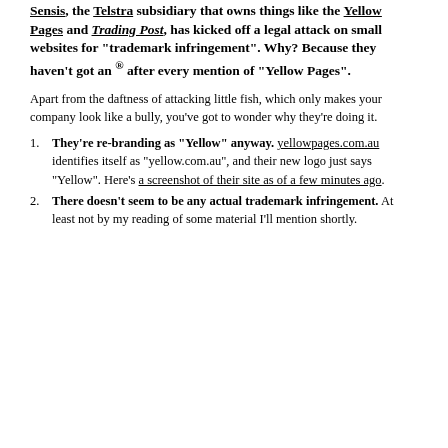Sensis, the Telstra subsidiary that owns things like the Yellow Pages and Trading Post, has kicked off a legal attack on small websites for "trademark infringement". Why? Because they haven't got an ® after every mention of "Yellow Pages".
Apart from the daftness of attacking little fish, which only makes your company look like a bully, you've got to wonder why they're doing it.
They're re-branding as "Yellow" anyway. yellowpages.com.au identifies itself as "yellow.com.au", and their new logo just says "Yellow". Here's a screenshot of their site as of a few minutes ago.
There doesn't seem to be any actual trademark infringement. At least not by my reading of some material I'll mention shortly.